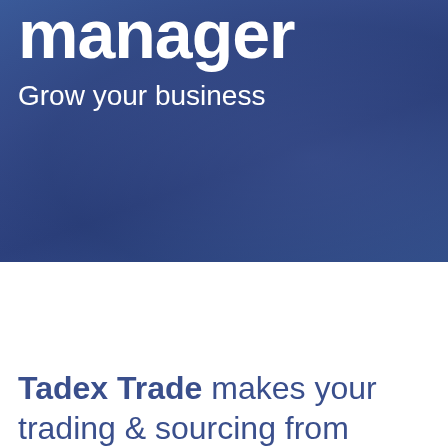manager
Grow your business
[Figure (photo): Blue hero banner background with gradient, partially showing the word 'manager' and subtitle 'Grow your business' in white text on a dark blue background.]
Tadex Trade makes your trading & sourcing from China and Asia faster